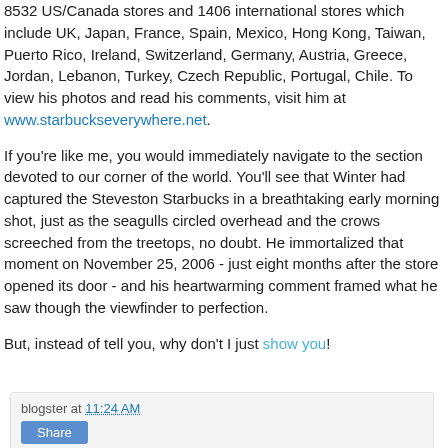8532 US/Canada stores and 1406 international stores which include UK, Japan, France, Spain, Mexico, Hong Kong, Taiwan, Puerto Rico, Ireland, Switzerland, Germany, Austria, Greece, Jordan, Lebanon, Turkey, Czech Republic, Portugal, Chile. To view his photos and read his comments, visit him at www.starbuckseverywhere.net.
If you're like me, you would immediately navigate to the section devoted to our corner of the world. You'll see that Winter had captured the Steveston Starbucks in a breathtaking early morning shot, just as the seagulls circled overhead and the crows screeched from the treetops, no doubt. He immortalized that moment on November 25, 2006 - just eight months after the store opened its door - and his heartwarming comment framed what he saw though the viewfinder to perfection.
But, instead of tell you, why don't I just show you!
blogster at 11:24 AM